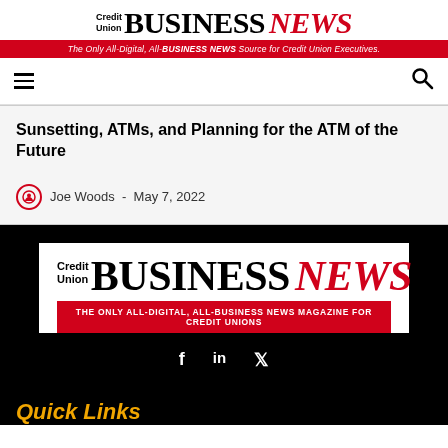Credit Union BUSINESS NEWS — The Only All-Digital, All-BUSINESS NEWS Source for Credit Union Executives.
Sunsetting, ATMs, and Planning for the ATM of the Future
Joe Woods  -  May 7, 2022
[Figure (logo): Credit Union BUSINESS NEWS logo with tagline: THE ONLY ALL-DIGITAL, ALL-BUSINESS NEWS MAGAZINE FOR CREDIT UNIONS]
f   in   𝕏
Quick Links